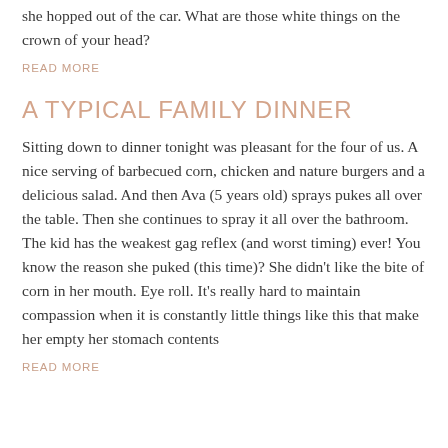she hopped out of the car. What are those white things on the crown of your head?
READ MORE
A TYPICAL FAMILY DINNER
Sitting down to dinner tonight was pleasant for the four of us. A nice serving of barbecued corn, chicken and nature burgers and a delicious salad. And then Ava (5 years old) sprays pukes all over the table. Then she continues to spray it all over the bathroom. The kid has the weakest gag reflex (and worst timing) ever! You know the reason she puked (this time)? She didn't like the bite of corn in her mouth. Eye roll. It's really hard to maintain compassion when it is constantly little things like this that make her empty her stomach contents
READ MORE